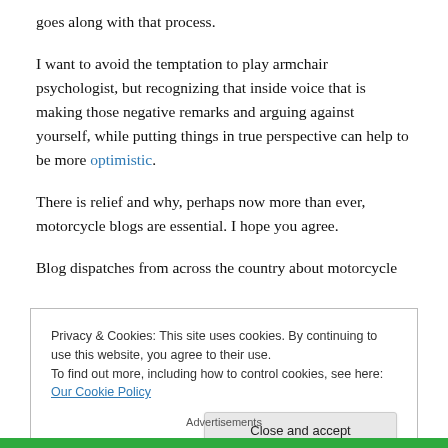goes along with that process.
I want to avoid the temptation to play armchair psychologist, but recognizing that inside voice that is making those negative remarks and arguing against yourself, while putting things in true perspective can help to be more optimistic.
There is relief and why, perhaps now more than ever, motorcycle blogs are essential. I hope you agree.
Blog dispatches from across the country about motorcycle
Privacy & Cookies: This site uses cookies. By continuing to use this website, you agree to their use.
To find out more, including how to control cookies, see here: Our Cookie Policy
Close and accept
Advertisements